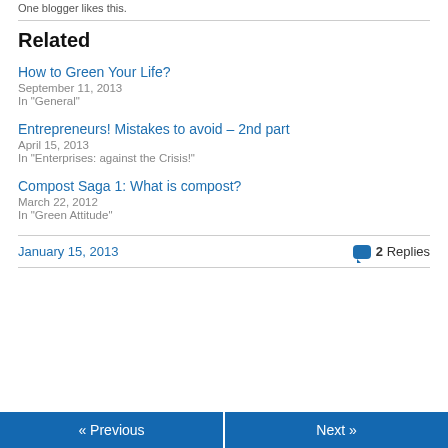One blogger likes this.
Related
How to Green Your Life?
September 11, 2013
In "General"
Entrepreneurs! Mistakes to avoid – 2nd part
April 15, 2013
In "Enterprises: against the Crisis!"
Compost Saga 1: What is compost?
March 22, 2012
In "Green Attitude"
January 15, 2013    2 Replies
« Previous    Next »